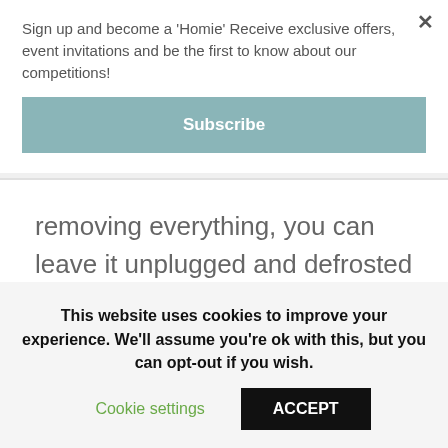Sign up and become a 'Homie' Receive exclusive offers, event invitations and be the first to know about our competitions!
Subscribe
removing everything, you can leave it unplugged and defrosted whilst you are away.
This website uses cookies to improve your experience. We'll assume you're ok with this, but you can opt-out if you wish.
Cookie settings
ACCEPT